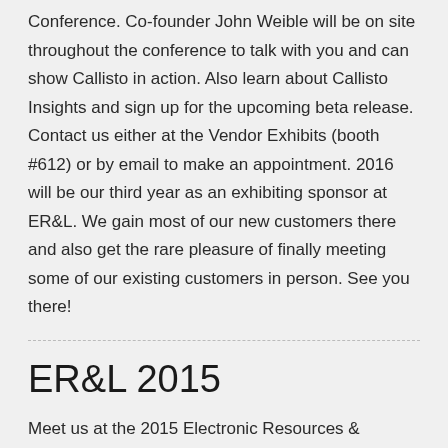Conference.  Co-founder John Weible will be on site throughout the conference to talk with you and can show Callisto in action.  Also learn about Callisto Insights and sign up for the upcoming beta release. Contact us either at the Vendor Exhibits (booth #612) or by email to make an appointment. 2016 will be our third year as an exhibiting sponsor at ER&L.  We gain most of our new customers there and also get the rare pleasure of finally meeting some of our existing customers in person.  See you there!
ER&L 2015
Meet us at the 2015 Electronic Resources & Libraries Conference.  Co-founder John Weible will be on site throughout the conference to talk with you and can show Callisto in action.